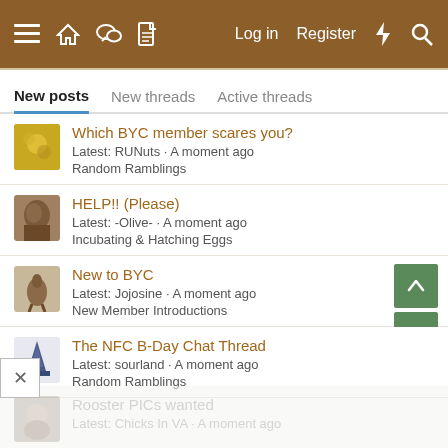≡  🏠  💬  📄   Log in  Register  ⚡  🔍
New posts  New threads  Active threads
Which BYC member scares you?
Latest: RUNuts · A moment ago
Random Ramblings
HELP!! (Please)
Latest: -Olive- · A moment ago
Incubating & Hatching Eggs
New to BYC
Latest: Jojosine · A moment ago
New Member Introductions
The NFC B-Day Chat Thread
Latest: sourland · A moment ago
Random Ramblings
Rooster PICs wanted
Latest: Chicks In VA · A moment ago